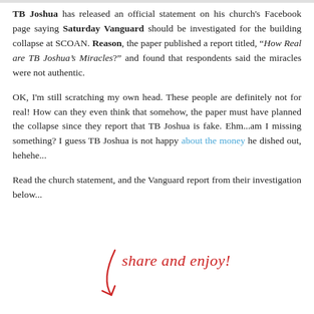TB Joshua has released an official statement on his church's Facebook page saying Saturday Vanguard should be investigated for the building collapse at SCOAN. Reason, the paper published a report titled, "How Real are TB Joshua's Miracles?" and found that respondents said the miracles were not authentic.
OK, I'm still scratching my own head. These people are definitely not for real! How can they even think that somehow, the paper must have planned the collapse since they report that TB Joshua is fake. Ehm...am I missing something? I guess TB Joshua is not happy about the money he dished out, hehehe...
Read the church statement, and the Vanguard report from their investigation below...
[Figure (illustration): Handwritten-style text in red reading 'share and enjoy!' with a curved arrow pointing downward, rendered in a casual handwriting font/style.]